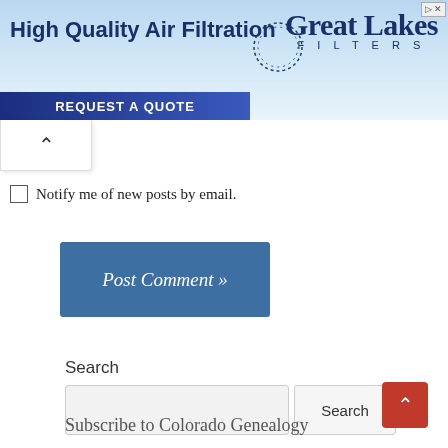[Figure (other): Advertisement banner for Great Lakes Filters: 'High Quality Air Filtration' with blue sky background, dotted circle logo, navy 'REQUEST A QUOTE' bar, and 'Great Lakes FILTERS' branding on the right.]
Notify me of new posts by email.
Post Comment »
Search
Search
Subscribe to Colorado Genealogy